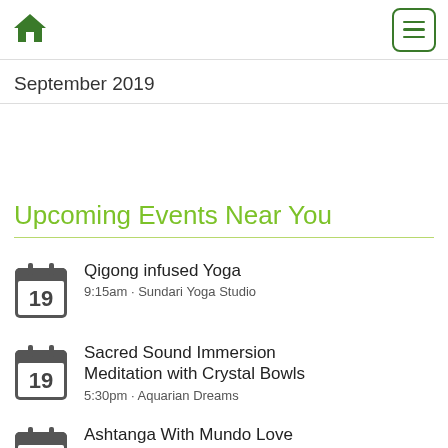Home | Menu
September 2019
Upcoming Events Near You
Qigong infused Yoga
9:15am · Sundari Yoga Studio
Sacred Sound Immersion Meditation with Crystal Bowls
5:30pm · Aquarian Dreams
Ashtanga With Mundo Love